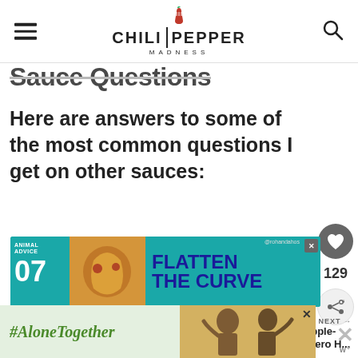Chili Pepper Madness
Sauce Questions
Here are answers to some of the most common questions I get on other sauces:
[Figure (screenshot): Advertisement banner: Animal Advice 07, Flatten The Curve]
[Figure (screenshot): What's Next: Pineapple-Habanero H...]
[Figure (screenshot): Advertisement banner: #AloneTogether with photo of couple]